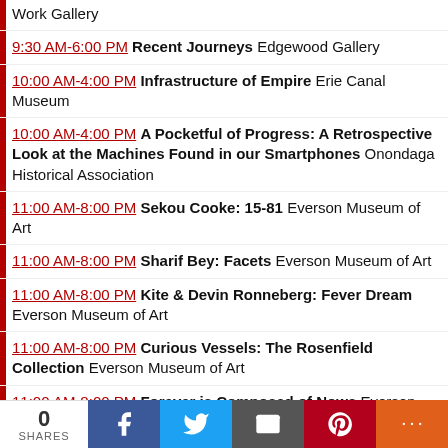Work Gallery
9:30 AM-6:00 PM Recent Journeys Edgewood Gallery
10:00 AM-4:00 PM Infrastructure of Empire Erie Canal Museum
10:00 AM-4:00 PM A Pocketful of Progress: A Retrospective Look at the Machines Found in our Smartphones Onondaga Historical Association
11:00 AM-8:00 PM Sekou Cooke: 15-81 Everson Museum of Art
11:00 AM-8:00 PM Sharif Bey: Facets Everson Museum of Art
11:00 AM-8:00 PM Kite & Devin Ronneberg: Fever Dream Everson Museum of Art
11:00 AM-8:00 PM Curious Vessels: The Rosenfield Collection Everson Museum of Art
11:00 AM-8:00 PM Forever is Composed of Nows Everson Museum of Art
11:00 AM-5:00 PM Independent Potters' Association